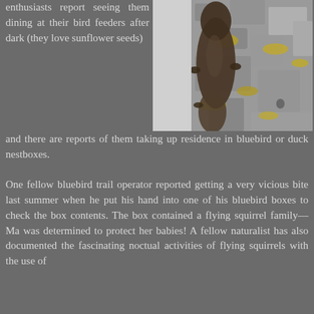enthusiasts report seeing them dining at their bird feeders after dark (they love sunflower seeds)
[Figure (photo): A flying squirrel clinging to the side of a lichen-covered tree trunk, photographed from below against a light grey sky]
and there are reports of them taking up residence in bluebird or duck nestboxes.
One fellow bluebird trail operator reported getting a very vicious bite last summer when he put his hand into one of his bluebird boxes to check the box contents. The box contained a flying squirrel family—Ma was determined to protect her babies! A fellow naturalist has also documented the fascinating noctual activities of flying squirrels with the use of